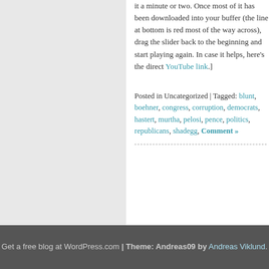it a minute or two. Once most of it has been downloaded into your buffer (the line at bottom is red most of the way across), drag the slider back to the beginning and start playing again. In case it helps, here's the direct YouTube link.]
Posted in Uncategorized | Tagged: blunt, boehner, congress, corruption, democrats, hastert, murtha, pelosi, pence, politics, republicans, shadegg, Comment »
Get a free blog at WordPress.com | Theme: Andreas09 by Andreas Viklund.